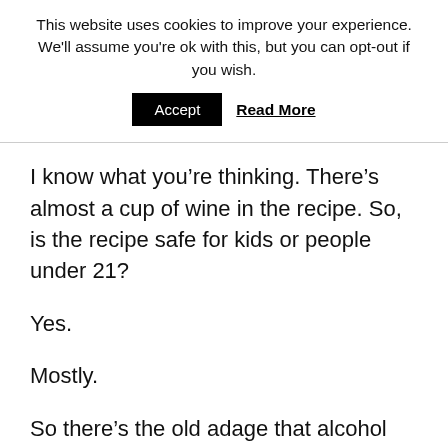This website uses cookies to improve your experience. We'll assume you're ok with this, but you can opt-out if you wish.
Accept  Read More
I know what you're thinking. There's almost a cup of wine in the recipe. So, is the recipe safe for kids or people under 21?
Yes.
Mostly.
So there's the old adage that alcohol cooks out while you're cooking, so it's safe for kids and people under 21 to eat food that has alcohol as an ingredient.